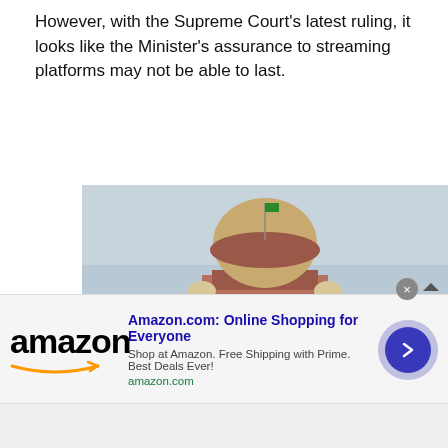However, with the Supreme Court's latest ruling, it looks like the Minister's assurance to streaming platforms may not be able to last.
[Figure (photo): Photograph of the Supreme Court of India building, showing the main sandstone facade with a large dome, columns, surrounding trees and a decorative lamp post in the foreground]
Amazon.com: Online Shopping for Everyone
Shop at Amazon. Free Shipping with Prime. Best Deals Ever!
amazon.com